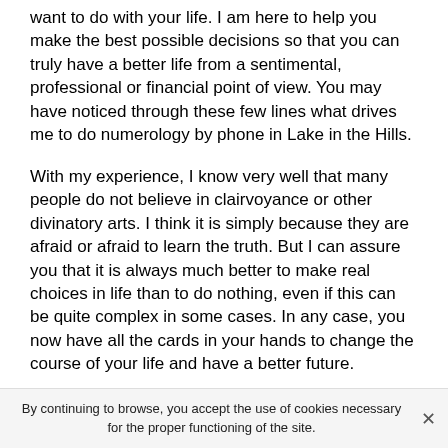want to do with your life. I am here to help you make the best possible decisions so that you can truly have a better life from a sentimental, professional or financial point of view. You may have noticed through these few lines what drives me to do numerology by phone in Lake in the Hills.
With my experience, I know very well that many people do not believe in clairvoyance or other divinatory arts. I think it is simply because they are afraid or afraid to learn the truth. But I can assure you that it is always much better to make real choices in life than to do nothing, even if this can be quite complex in some cases. In any case, you now have all the cards in your hands to change the course of your life and have a better future.
I may not tell you what you would like to hear, but what I do is only for your own good. By the way, if you still have any
By continuing to browse, you accept the use of cookies necessary for the proper functioning of the site.